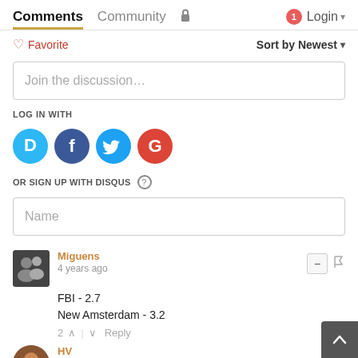Comments | Community | Login
Favorite | Sort by Newest
Join the discussion...
LOG IN WITH
[Figure (other): Social login icons: Disqus (D), Facebook (f), Twitter bird, Google (G)]
OR SIGN UP WITH DISQUS
Name
Miguens
4 years ago
FBI - 2.7
New Amsterdam - 3.2
2 ^ | v Reply
HV